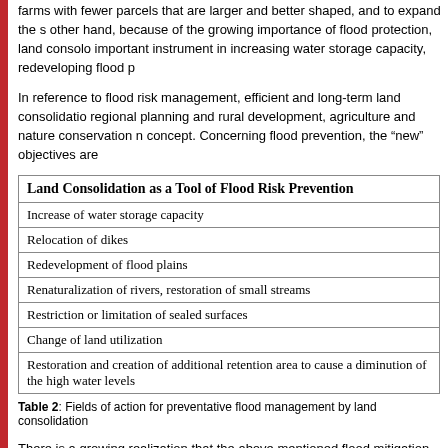farms with fewer parcels that are larger and better shaped, and to expand the s other hand, because of the growing importance of flood protection, land consolo important instrument in increasing water storage capacity, redeveloping flood p
In reference to flood risk management, efficient and long-term land consolidatio regional planning and rural development, agriculture and nature conservation n concept. Concerning flood prevention, the "new" objectives are
| Land Consolidation as a Tool of Flood Risk Prevention |
| --- |
| Increase of water storage capacity |
| Relocation of dikes |
| Redevelopment of flood plains |
| Renaturalization of rivers, restoration of small streams |
| Restriction or limitation of sealed surfaces |
| Change of land utilization |
| Restoration and creation of additional retention area to cause a diminution of the high water levels |
Table 2: Fields of action for preventative flood management by land consolidation
There is a growing realization that the above mentioned flood mitigation measu integrated approach to flood disaster management. A balance between structu manage floods is required, where the main focus is shifting from large structura